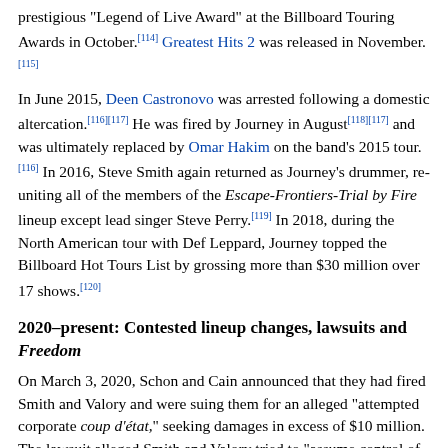prestigious "Legend of Live Award" at the Billboard Touring Awards in October.[114] Greatest Hits 2 was released in November.[115]
In June 2015, Deen Castronovo was arrested following a domestic altercation.[116][117] He was fired by Journey in August[118][117] and was ultimately replaced by Omar Hakim on the band's 2015 tour.[116] In 2016, Steve Smith again returned as Journey's drummer, re-uniting all of the members of the Escape-Frontiers-Trial by Fire lineup except lead singer Steve Perry.[119] In 2018, during the North American tour with Def Leppard, Journey topped the Billboard Hot Tours List by grossing more than $30 million over 17 shows.[120]
2020–present: Contested lineup changes, lawsuits and Freedom
On March 3, 2020, Schon and Cain announced that they had fired Smith and Valory and were suing them for an alleged "attempted corporate coup d'état," seeking damages in excess of $10 million. The lawsuit alleged Smith and Valory tried to "assume control of Nightmare Productions because they incorrectly believe that Nightmare Productions controls the Journey name and Mark" in order to "hold the Journey name hostage and set themselves up